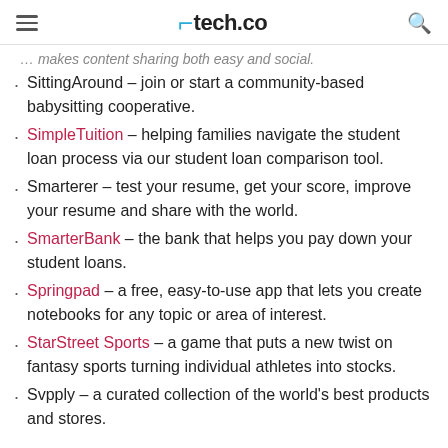tech.co
…makes content sharing both easy and social.
SittingAround – join or start a community-based babysitting cooperative.
SimpleTuition – helping families navigate the student loan process via our student loan comparison tool.
Smarterer – test your resume, get your score, improve your resume and share with the world.
SmarterBank – the bank that helps you pay down your student loans.
Springpad – a free, easy-to-use app that lets you create notebooks for any topic or area of interest.
StarStreet Sports – a game that puts a new twist on fantasy sports turning individual athletes into stocks.
Svpply – a curated collection of the world's best products and stores.